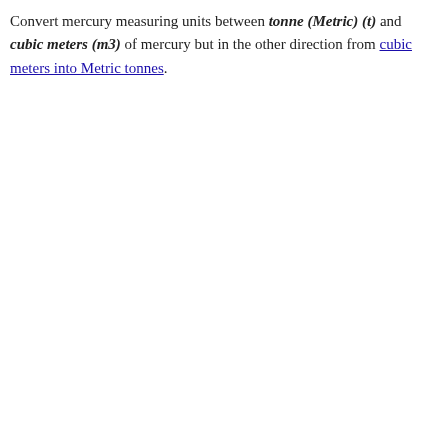Convert mercury measuring units between tonne (Metric) (t) and cubic meters (m3) of mercury but in the other direction from cubic meters into Metric tonnes.